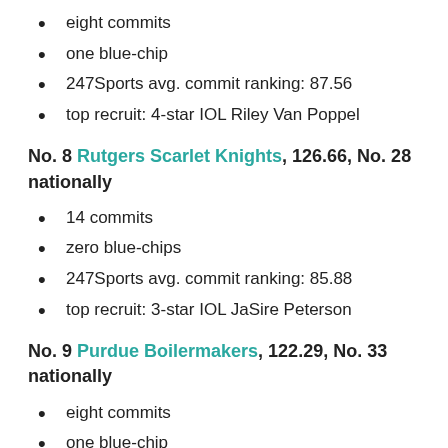eight commits
one blue-chip
247Sports avg. commit ranking: 87.56
top recruit: 4-star IOL Riley Van Poppel
No. 8 Rutgers Scarlet Knights, 126.66, No. 28 nationally
14 commits
zero blue-chips
247Sports avg. commit ranking: 85.88
top recruit: 3-star IOL JaSire Peterson
No. 9 Purdue Boilermakers, 122.29, No. 33 nationally
eight commits
one blue-chip
247Sports avg. commit ranking: 86.73
top recruit: 4-star CB Rickie Collins